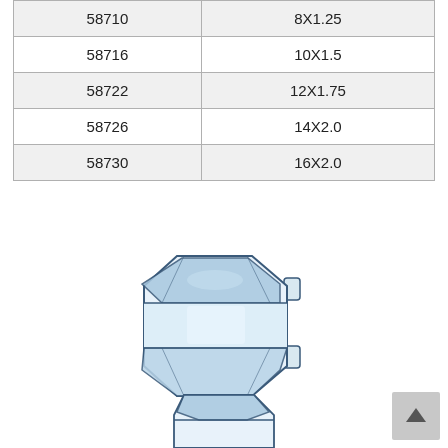| Part Number | Size |
| --- | --- |
| 58710 | 8X1.25 |
| 58716 | 10X1.5 |
| 58722 | 12X1.75 |
| 58726 | 14X2.0 |
| 58730 | 16X2.0 |
[Figure (engineering-diagram): Top-down view of a metric cap nut / acorn nut, hexagonal shape with a domed/closed top, shown in blue-tinted technical illustration style with a small protrusion on the right side.]
[Figure (engineering-diagram): Partial view of another engineering component at the bottom of the page, partially cut off.]